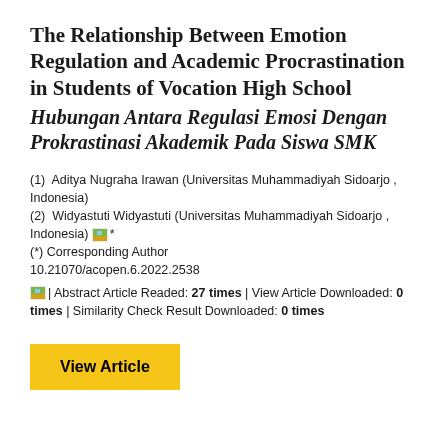The Relationship Between Emotion Regulation and Academic Procrastination in Students of Vocation High School
Hubungan Antara Regulasi Emosi Dengan Prokrastinasi Akademik Pada Siswa SMK
(1) Aditya Nugraha Irawan (Universitas Muhammadiyah Sidoarjo , Indonesia)
(2) Widyastuti Widyastuti (Universitas Muhammadiyah Sidoarjo , Indonesia) *
(*) Corresponding Author
10.21070/acopen.6.2022.2538
| Abstract Article Readed: 27 times | View Article Downloaded: 0 times | Similarity Check Result Downloaded: 0 times
View Article